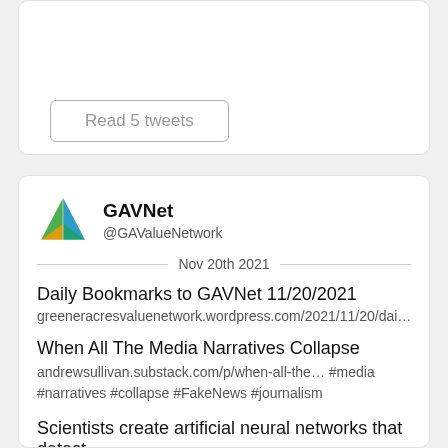[Figure (screenshot): Top card partial — empty white card with a 'Read 5 tweets' button]
Read 5 tweets
[Figure (screenshot): GAVNet Twitter/social card with avatar, handle @GAValueNetwork, date Nov 20th 2021, and tweet content]
GAVNet
@GAValueNetwork
Nov 20th 2021
Daily Bookmarks to GAVNet 11/20/2021
greeneracresvaluenetwork.wordpress.com/2021/11/20/dai…
When All The Media Narratives Collapse
andrewsullivan.substack.com/p/when-all-the… #media #narratives #collapse #FakeNews #journalism
Scientists create artificial neural networks that detect